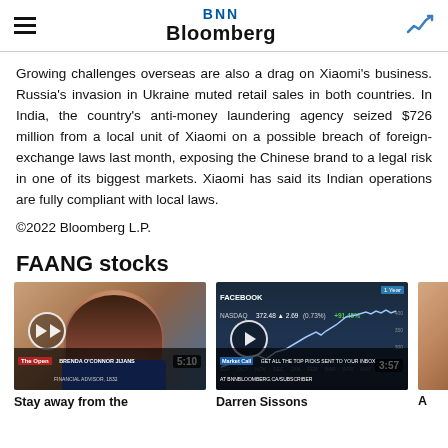BNN Bloomberg
Growing challenges overseas are also a drag on Xiaomi's business. Russia's invasion in Ukraine muted retail sales in both countries. In India, the country's anti-money laundering agency seized $726 million from a local unit of Xiaomi on a possible breach of foreign-exchange laws last month, exposing the Chinese brand to a legal risk in one of its biggest markets. Xiaomi has said its Indian operations are fully compliant with local laws.
©2022 Bloomberg L.P.
FAANG stocks
[Figure (photo): Video thumbnail of a woman (Brenda O'Connor Jijans, Financial Advisor) with play button overlay, duration 5:10, The Open show tag]
Stay away from the
[Figure (screenshot): Video thumbnail showing Facebook/Meta stock chart (372.48, +2.69, +0.73%) 1 Year +91.45%, Market Call show tag, duration 3:57]
Darren Sissons